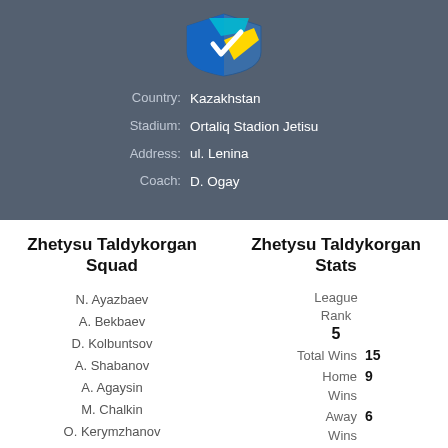[Figure (logo): Zhetysu Taldykorgan football club logo — blue and yellow shield shape with stylized design]
Country: Kazakhstan
Stadium: Ortaliq Stadion Jetisu
Address: ul. Lenina
Coach: D. Ogay
Zhetysu Taldykorgan Squad
Zhetysu Taldykorgan Stats
N. Ayazbaev
A. Bekbaev
D. Kolbuntsov
A. Shabanov
A. Agaysin
M. Chalkin
O. Kerymzhanov
A. Kharabara
| Stat | Value |
| --- | --- |
| League Rank | 5 |
| Total Wins | 15 |
| Home Wins | 9 |
| Away Wins | 6 |